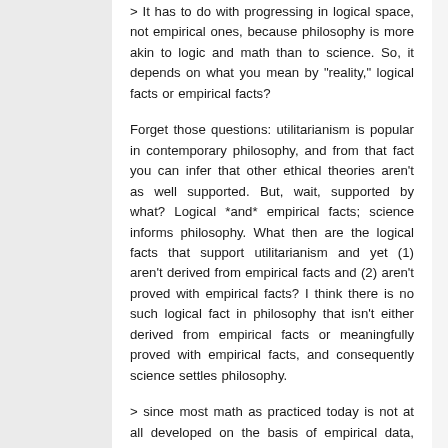> It has to do with progressing in logical space, not empirical ones, because philosophy is more akin to logic and math than to science. So, it depends on what you mean by "reality," logical facts or empirical facts?
Forget those questions: utilitarianism is popular in contemporary philosophy, and from that fact you can infer that other ethical theories aren't as well supported. But, wait, supported by what? Logical *and* empirical facts; science informs philosophy. What then are the logical facts that support utilitarianism and yet (1) aren't derived from empirical facts and (2) aren't proved with empirical facts? I think there is no such logical fact in philosophy that isn't either derived from empirical facts or meaningfully proved with empirical facts, and consequently science settles philosophy.
> since most math as practiced today is not at all developed on the basis of empirical data, why doesn't that show that science isn't the only